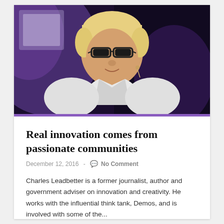[Figure (photo): A man with blonde hair and glasses wearing a white shirt, speaking on stage against a dark purple background with a microphone earpiece.]
Real innovation comes from passionate communities
December 12, 2016  -  No Comment
Charles Leadbetter is a former journalist, author and government adviser on innovation and creativity. He works with the influential think tank, Demos, and is involved with some of the...